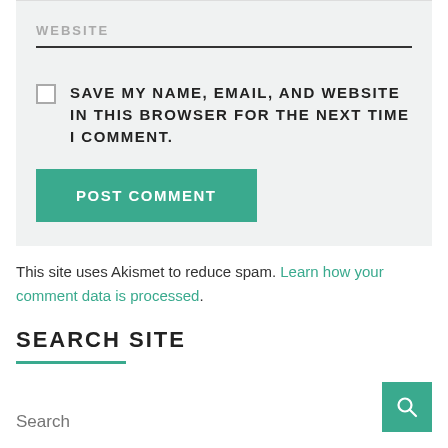WEBSITE (input field placeholder)
SAVE MY NAME, EMAIL, AND WEBSITE IN THIS BROWSER FOR THE NEXT TIME I COMMENT.
POST COMMENT (button)
This site uses Akismet to reduce spam. Learn how your comment data is processed.
SEARCH SITE
Search (input field placeholder)